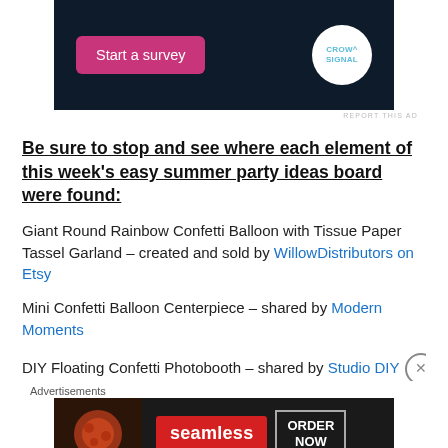[Figure (other): Advertisement banner with dark navy background, pink 'Start a survey' button, and Crowdsignal circular white logo on right]
REPORT THIS AD
Be sure to stop and see where each element of this week's easy summer party ideas board were found:
Giant Round Rainbow Confetti Balloon with Tissue Paper Tassel Garland – created and sold by WillowDistributors on Etsy
Mini Confetti Balloon Centerpiece – shared by Modern Moments
DIY Floating Confetti Photobooth – shared by Studio DIY
Advertisements
[Figure (other): Seamless food delivery advertisement with pizza image, red Seamless logo, and ORDER NOW button on dark background]